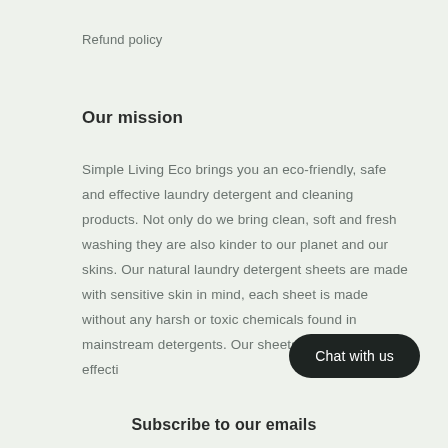Refund policy
Our mission
Simple Living Eco brings you an eco-friendly, safe and effective laundry detergent and cleaning products. Not only do we bring clean, soft and fresh washing they are also kinder to our planet and our skins. Our natural laundry detergent sheets are made with sensitive skin in mind, each sheet is made without any harsh or toxic chemicals found in mainstream detergents. Our sheets are simple and effecti
Chat with us
Subscribe to our emails